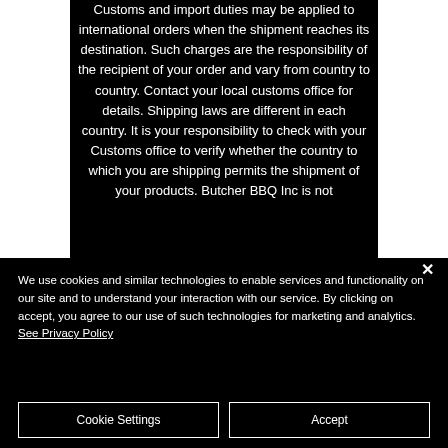Customs and import duties may be applied to international orders when the shipment reaches its destination. Such charges are the responsibility of the recipient of your order and vary from country to country. Contact your local customs office for details. Shipping laws are different in each country. It is your responsibility to check with your Customs office to verify whether the country to which you are shipping permits the shipment of your products. Butcher BBQ Inc is not [continued]
We use cookies and similar technologies to enable services and functionality on our site and to understand your interaction with our service. By clicking on accept, you agree to our use of such technologies for marketing and analytics. See Privacy Policy